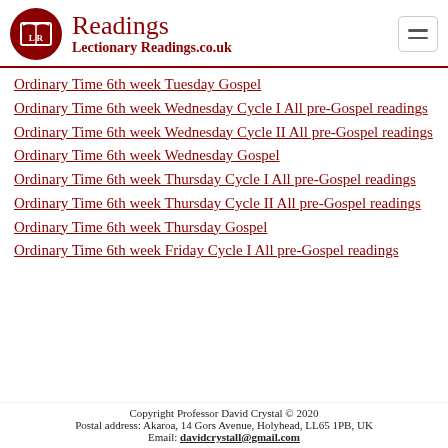Readings — LectionaryReadings.co.uk
Ordinary Time 6th week Tuesday Gospel
Ordinary Time 6th week Wednesday Cycle I All pre-Gospel readings
Ordinary Time 6th week Wednesday Cycle II All pre-Gospel readings
Ordinary Time 6th week Wednesday Gospel
Ordinary Time 6th week Thursday Cycle I All pre-Gospel readings
Ordinary Time 6th week Thursday Cycle II All pre-Gospel readings
Ordinary Time 6th week Thursday Gospel
Ordinary Time 6th week Friday Cycle I All pre-Gospel readings
Copyright Professor David Crystal © 2020
Postal address: Akaroa, 14 Gors Avenue, Holyhead, LL65 1PB, UK
Email: davidcrystall@gmail.com